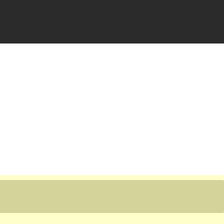[Figure (screenshot): Dark code block showing two array literals: [ "a", "b", "c" ] and [ "c", "d", "a" ] in teal/cyan monospace text on dark background]
See also #union.
Additional
Many of the metho... module.
If you do not find ... Enumerable docs...